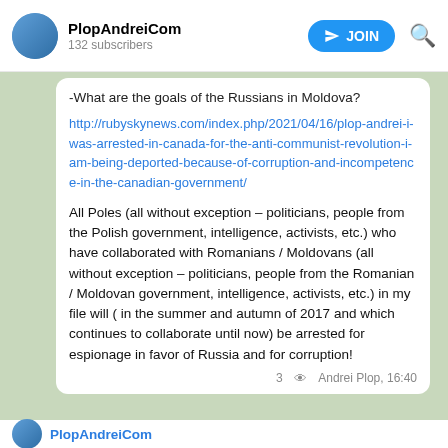PlopAndreiCom · 132 subscribers
-What are the goals of the Russians in Moldova?
http://rubyskynews.com/index.php/2021/04/16/plop-andrei-i-was-arrested-in-canada-for-the-anti-communist-revolution-i-am-being-deported-because-of-corruption-and-incompetence-in-the-canadian-government/
All Poles (all without exception – politicians, people from the Polish government, intelligence, activists, etc.) who have collaborated with Romanians / Moldovans (all without exception – politicians, people from the Romanian / Moldovan government, intelligence, activists, etc.) in my file will ( in the summer and autumn of 2017 and which continues to collaborate until now) be arrested for espionage in favor of Russia and for corruption!
3  Andrei Plop, 16:40
PlopAndreiCom